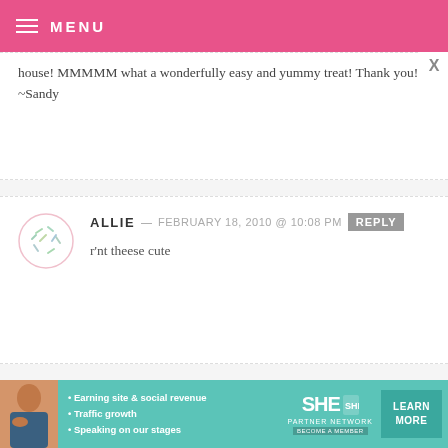MENU
...what a wonderfully easy and yummy treat! Thank you! ~Sandy
ALLIE — FEBRUARY 18, 2010 @ 10:08 PM REPLY
r'nt theese cute
CYNTHIA — FEBRUARY 14, 2010 @ 10:52 AM REPLY
[Figure (infographic): SHE Partner Network advertisement banner with photo of woman, bullet points about earning site & social revenue, traffic growth, speaking on our stages, SHE logo, and LEARN MORE button]